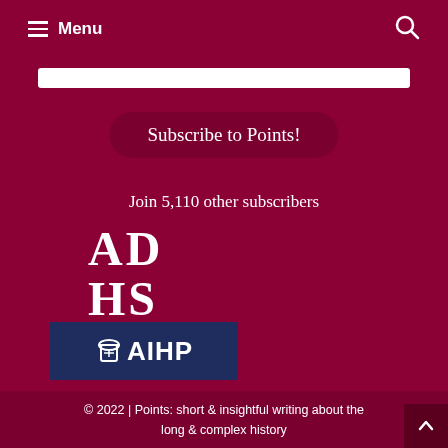Menu
Subscribe to Points!
Join 5,110 other subscribers
[Figure (logo): ADHS logo in white serif letters on dark red background]
[Figure (logo): AIHP logo with mortar and pestle icon on dark navy background]
© 2022 | Points: short & insightful writing about the long & complex history